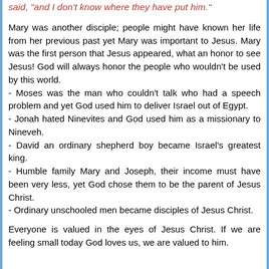said, "and I don't know where they have put him."
Mary was another disciple; people might have known her life from her previous past yet Mary was important to Jesus. Mary was the first person that Jesus appeared, what an honor to see Jesus! God will always honor the people who wouldn't be used by this world.
- Moses was the man who couldn't talk who had a speech problem and yet God used him to deliver Israel out of Egypt.
- Jonah hated Ninevites and God used him as a missionary to Nineveh.
- David an ordinary shepherd boy became Israel's greatest king.
- Humble family Mary and Joseph, their income must have been very less, yet God chose them to be the parent of Jesus Christ.
- Ordinary unschooled men became disciples of Jesus Christ.
Everyone is valued in the eyes of Jesus Christ. If we are feeling small today God loves us, we are valued to him.